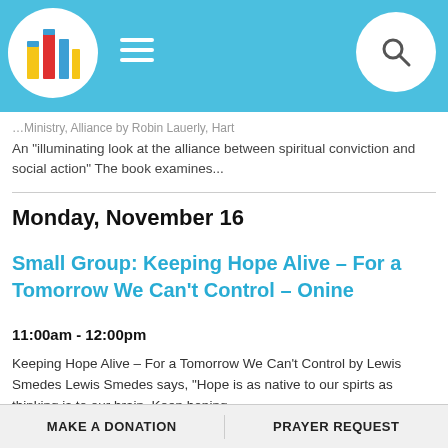Church app header with logo, hamburger menu, and search icon
An "illuminating look at the alliance between spiritual conviction and social action" The book examines...
Monday, November 16
Small Group: Keeping Hope Alive - For a Tomorrow We Can't Control - Onine
11:00am - 12:00pm
Keeping Hope Alive - For a Tomorrow We Can't Control by Lewis Smedes Lewis Smedes says, "Hope is as native to our spirts as thinking is to our brain. Keep hoping...
MAKE A DONATION    PRAYER REQUEST